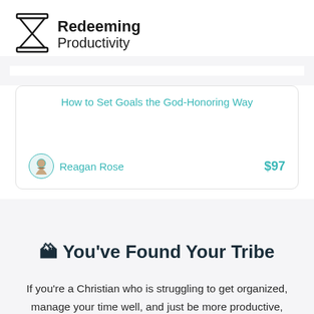[Figure (logo): Redeeming Productivity logo: hourglass icon on the left, text 'Redeeming Productivity' on the right]
How to Set Goals the God-Honoring Way
Reagan Rose   $97
🏔 You've Found Your Tribe
If you're a Christian who is struggling to get organized, manage your time well, and just be more productive,